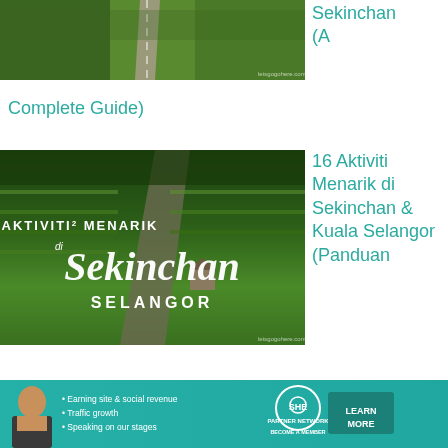[Figure (photo): Aerial view of green rice paddy fields with road]
Sekinchan (A
Complete Guide)
[Figure (photo): Aerial photo of Sekinchan rice fields with text overlay: AKTIVITI² MENARIK di Sekinchan SELANGOR]
16 Aktiviti Menarik di Sekinchan & Kuala Selangor (Panduan Lengkap)
[Figure (photo): Kuala Lumpur skyline at sunset with text: 10 THINGS NOT TO DO in Malaysia]
10 Things You Must NOT Do
[Figure (infographic): SHE Partner Network advertisement banner with bullet points: Earning site & social revenue, Traffic growth, Speaking on our stages. LEARN MORE button.]